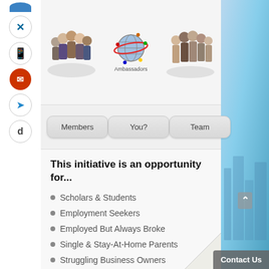[Figure (screenshot): Top section showing three images: group of diverse people on left, Ambassadors globe logo in center, group of people standing on right]
Members | You? | Team
This initiative is an opportunity for...
Scholars & Students
Employment Seekers
Employed But Always Broke
Single & Stay-At-Home Parents
Struggling Business Owners
Administrators & Managers